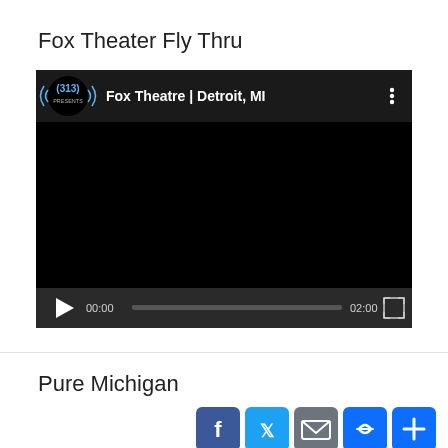Fox Theater Fly Thru
[Figure (screenshot): Embedded YouTube video player showing '(313) Fox Theatre | Detroit, MI' with black video area, play button, time 00:00, progress bar, duration 02:00, and fullscreen button]
Pure Michigan
[Figure (screenshot): Social sharing buttons: Facebook, Twitter, Email, Link, and plus/more button; below is a partial thumbnail of another video]